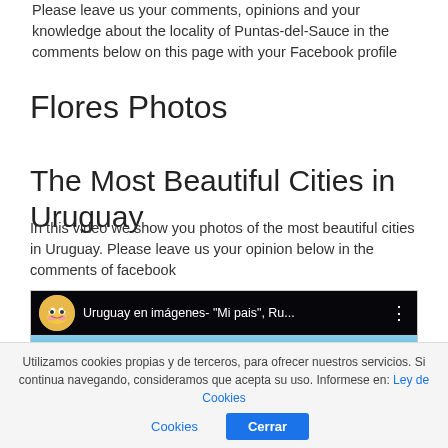Please leave us your comments, opinions and your knowledge about the locality of Puntas-del-Sauce in the comments below on this page with your Facebook profile
Flores Photos
The Most Beautiful Cities in Uruguay
In this video we show you photos of the most beautiful cities in Uruguay. Please leave us your opinion below in the comments of facebook
[Figure (screenshot): Embedded YouTube video player showing 'Uruguay en imágenes- "Mi pais", Ru...' with a Garfield avatar icon, dark top bar, and a landscape background with a YouTube play button overlay]
Utilizamos cookies propias y de terceros, para ofrecer nuestros servicios. Si continua navegando, consideramos que acepta su uso. Informese en: Ley de Cookies  Cerrar